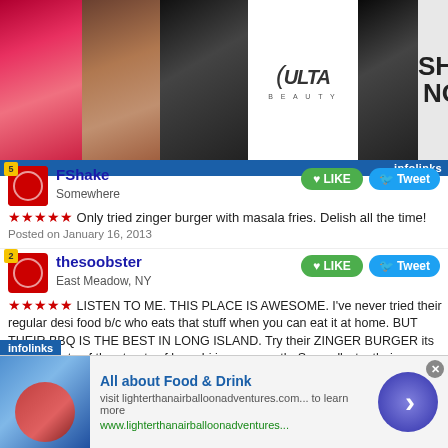[Figure (screenshot): ULTA beauty advertisement banner with makeup images, 'SHOP NOW' text, and infolinks branding]
FShake
Somewhere
LIKE   Tweet
★★★★★ Only tried zinger burger with masala fries. Delish all the time!
Posted on January 16, 2013
thesoobster
East Meadow, NY
LIKE   Tweet
★★★★★ LISTEN TO ME. THIS PLACE IS AWESOME. I've never tried their regular desi food b/c who eats that stuff when you can eat it at home. BUT THEIR BBQ IS THE BEST IN LONG ISLAND. Try their ZINGER BURGER its like the taste of the streets of karachi in your mouth. Secondly, try their MASALA FRIES omg its like their special chaat masala palooza aalo chips! And try their MIX ROLL its like reliving the kabab roll days from pakistan except better. Oh and their TIKKA is awesome too, they call it "chicken leg" if you ask for tikka they give you tikka boti (WTH RIGHT?). GO RIGHT AND THE PRICES ARE SUPER REASONABLE! Posted on Janu
[Figure (screenshot): Bottom advertisement: All about Food & Drink, visit lighterthanairballoonadventures.com... to learn more, www.lighterthanairballoonadventures...]